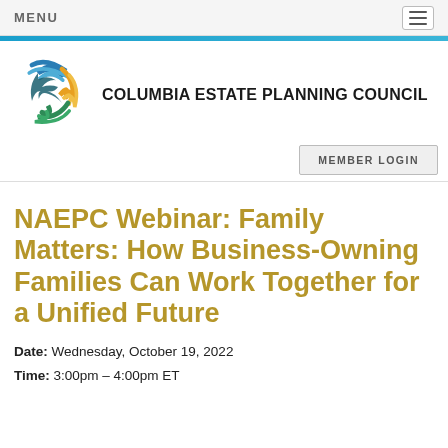MENU
[Figure (logo): Columbia Estate Planning Council logo - abstract swirl with blue, green, orange and gold colors]
COLUMBIA ESTATE PLANNING COUNCIL
MEMBER LOGIN
NAEPC Webinar: Family Matters: How Business-Owning Families Can Work Together for a Unified Future
Date: Wednesday, October 19, 2022
Time: 3:00pm – 4:00pm ET